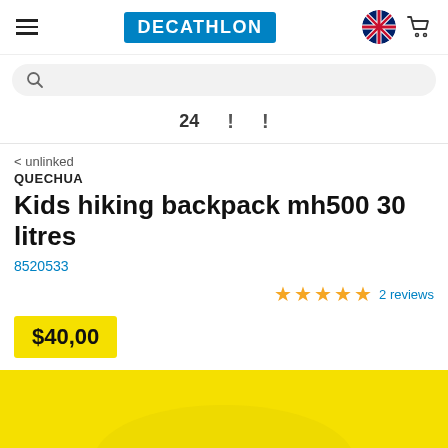DECATHLON
24 ! !
< unlinked
QUECHUA
Kids hiking backpack mh500 30 litres
8520533
★★★★★ 2 reviews
$40,00
[Figure (photo): Yellow kids hiking backpack product photo, partially visible at bottom of page]